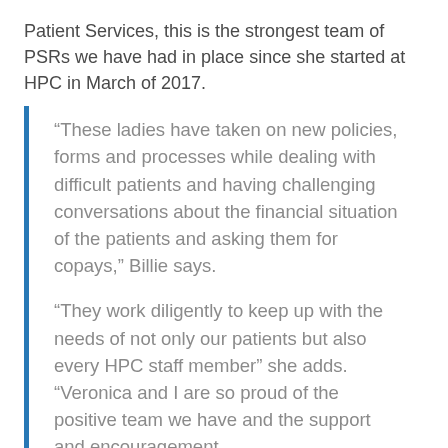Patient Services, this is the strongest team of PSRs we have had in place since she started at HPC in March of 2017.
“These ladies have taken on new policies, forms and processes while dealing with difficult patients and having challenging conversations about the financial situation of the patients and asking them for copays,” Billie says.
“They work diligently to keep up with the needs of not only our patients but also every HPC staff member” she adds. “Veronica and I are so proud of the positive team we have and the support and encouragement